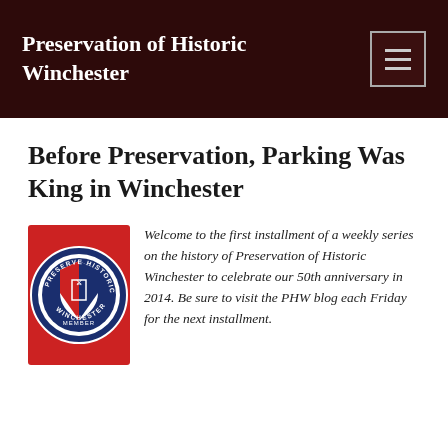Preservation of Historic Winchester
Before Preservation, Parking Was King in Winchester
[Figure (logo): Preservation of Historic Winchester member badge/seal - circular red and blue emblem with shield and text]
Welcome to the first installment of a weekly series on the history of Preservation of Historic Winchester to celebrate our 50th anniversary in 2014. Be sure to visit the PHW blog each Friday for the next installment.